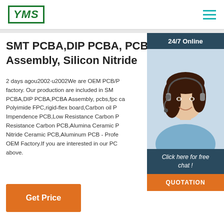YMS
SMT PCBA,DIP PCBA, PCBA Assembly, Silicon Nitride
2 days agou2002·u2002We are OEM PCB/P factory. Our production are included in SM PCBA,DIP PCBA,PCBA Assembly, pcbs,fpc ca Polyimide FPC,rigid-flex board,Carbon oil P Impendence PCB,Low Resistance Carbon P Resistance Carbon PCB,Alumina Ceramic P Nitride Ceramic PCB,Aluminum PCB - Profe OEM Factory.If you are interested in our PC above.
[Figure (photo): Customer service agent with headset, smiling, with 24/7 Online banner and Click here for free chat! text and QUOTATION button]
Get Price